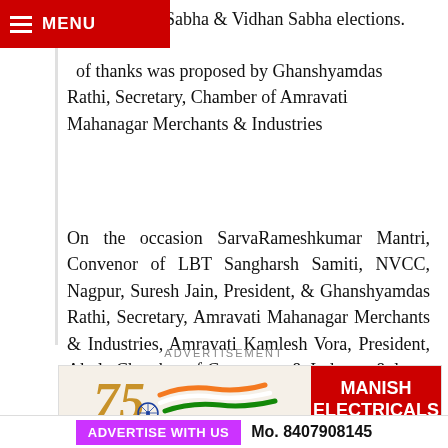MENU
Lok Sabha & Vidhan Sabha elections.
Vote of thanks was proposed by Ghanshyamdas Rathi, Secretary, Chamber of Amravati Mahanagar Merchants & Industries
On the occasion SarvaRameshkumar Mantri, Convenor of LBT Sangharsh Samiti, NVCC, Nagpur, Suresh Jain, President, & Ghanshyamdas Rathi, Secretary, Amravati Mahanagar Merchants & Industries, Amravati Kamlesh Vora, President, Akola Chamber of Commerce & Industry & large members traders of Amravati were present, states in a press note issued by Hemant Gandhi, Hon Secretary of the Chamber.
ADVERTISEMENT
[Figure (illustration): Advertisement banner for Manish Electricals featuring 75th anniversary India tricolor logo on left and red background with white bold text MANISH ELECTRICALS on right]
ADVERTISE WITH US   Mo. 8407908145